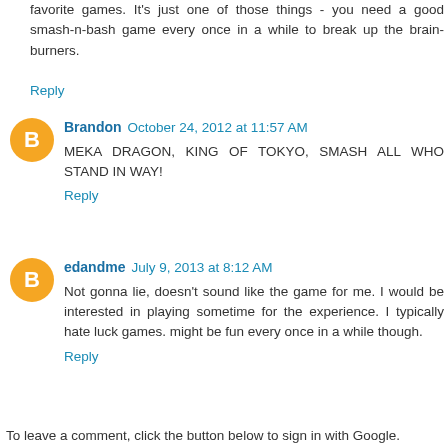favorite games. It's just one of those things - you need a good smash-n-bash game every once in a while to break up the brain-burners.
Reply
Brandon  October 24, 2012 at 11:57 AM
MEKA DRAGON, KING OF TOKYO, SMASH ALL WHO STAND IN WAY!
Reply
edandme  July 9, 2013 at 8:12 AM
Not gonna lie, doesn't sound like the game for me. I would be interested in playing sometime for the experience. I typically hate luck games. might be fun every once in a while though.
Reply
To leave a comment, click the button below to sign in with Google.